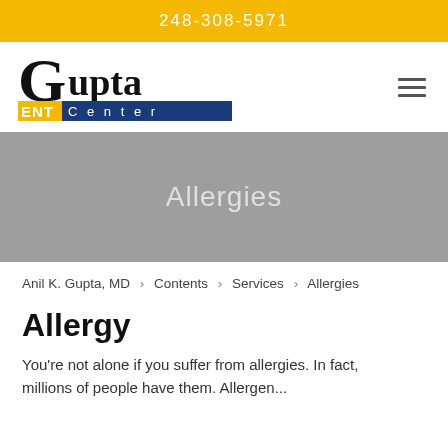248-308-5971
[Figure (logo): Gupta ENT Center logo with large stylized G, yellow background on ENT, blue background on Center text]
Allergies
Anil K. Gupta, MD  >  Contents  >  Services  >  Allergies
Allergy
You're not alone if you suffer from allergies. In fact, millions of people have them. Allergens...